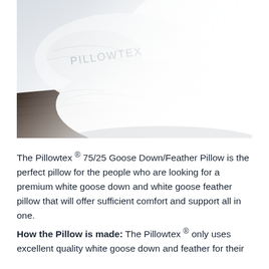[Figure (photo): White Pillowtex brand pillows on a wooden surface against a bright white background. The pillow in the foreground is large and white, and in the background another pillow shows the PILLOWTEX brand name embroidered on it.]
The Pillowtex ® 75/25 Goose Down/Feather Pillow is the perfect pillow for the people who are looking for a premium white goose down and white goose feather pillow that will offer sufficient comfort and support all in one.
How the Pillow is made: The Pillowtex ® only uses excellent quality white goose down and feather for their